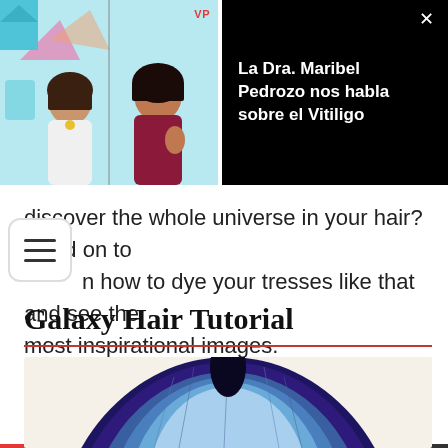[Figure (screenshot): Video popup overlay showing two women in a video call thumbnail on the left, with a black panel on the right displaying the title 'La Dra. Maribel Pedrozo nos habla sobre el Vitiligo' in white text. A red progress bar and close button (×) are visible.]
discover the whole universe in your hair? Read on to h how to dye your tresses like that and see the most inspirational images.
Galaxy Hair Tutorial
[Figure (photo): Top-down view of a person's head showing galaxy hair coloring — deep purple/indigo at the roots blending into teal and light blue/lavender at the ends, against a cream/off-white background.]